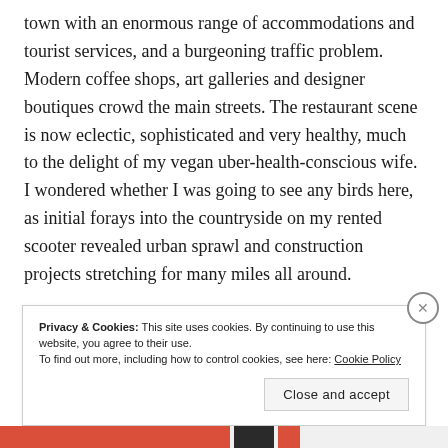town with an enormous range of accommodations and tourist services, and a burgeoning traffic problem. Modern coffee shops, art galleries and designer boutiques crowd the main streets. The restaurant scene is now eclectic, sophisticated and very healthy, much to the delight of my vegan uber-health-conscious wife. I wondered whether I was going to see any birds here, as initial forays into the countryside on my rented scooter revealed urban sprawl and construction projects stretching for many miles all around.
Privacy & Cookies: This site uses cookies. By continuing to use this website, you agree to their use. To find out more, including how to control cookies, see here: Cookie Policy
Close and accept